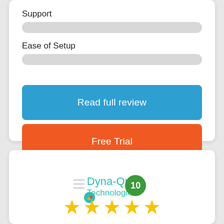Support
[Figure (infographic): Gray progress bar for Support rating]
Ease of Setup
[Figure (infographic): Gray progress bar for Ease of Setup rating]
Read full review
Free Trial
[Figure (logo): Dyna-Que Technologies logo with green badge showing number 10]
[Figure (infographic): Five gold star rating icons]